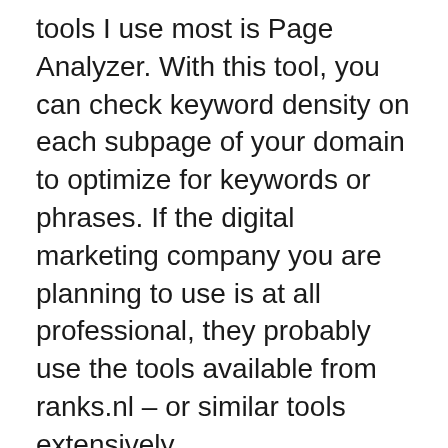tools I use most is Page Analyzer. With this tool, you can check keyword density on each subpage of your domain to optimize for keywords or phrases. If the digital marketing company you are planning to use is at all professional, they probably use the tools available from ranks.nl – or similar tools extensively.
Majestic.Com
Majestic SEO is the world's largest